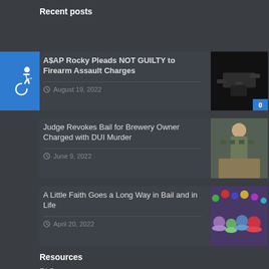Recent posts
[Figure (other): Accessibility wheelchair icon in blue square]
A$AP Rocky Pleads NOT GUILTY to Firearm Assault Charges — August 19, 2022
[Figure (photo): Image of a firearm assault related photo]
Judge Revokes Bail for Brewery Owner Charged with DUI Murder — June 9, 2022
[Figure (photo): Image of brewery owner]
A Little Faith Goes a Long Way in Bail and in Life — April 20, 2022
[Figure (photo): Party photo with family and Spider-Man costume]
Resources
FAQs
Bail Industry News
Who is ExpertBail?
ExpertBail Blog
Terms & Conditions